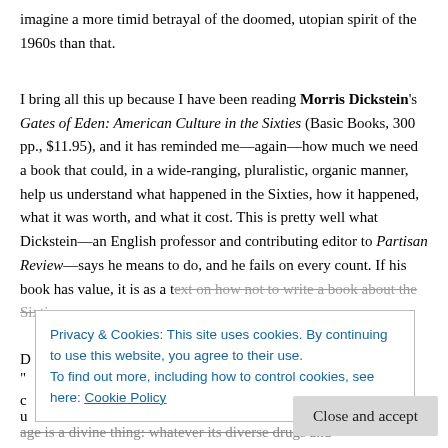imagine a more timid betrayal of the doomed, utopian spirit of the 1960s than that.
I bring all this up because I have been reading Morris Dickstein's Gates of Eden: American Culture in the Sixties (Basic Books, 300 pp., $11.95), and it has reminded me—again—how much we need a book that could, in a wide-ranging, pluralistic, organic manner, help us understand what happened in the Sixties, how it happened, what it was worth, and what it cost. This is pretty well what Dickstein—an English professor and contributing editor to Partisan Review—says he means to do, and he fails on every count. If his book has value, it is as a text on how not to write a book about the Sixties.
Privacy & Cookies: This site uses cookies. By continuing to use this website, you agree to their use. To find out more, including how to control cookies, see here: Cookie Policy
Close and accept